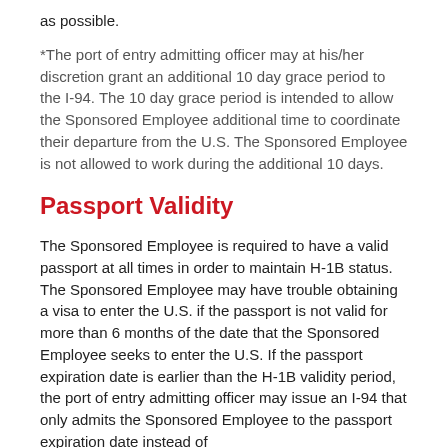as possible.
*The port of entry admitting officer may at his/her discretion grant an additional 10 day grace period to the I-94. The 10 day grace period is intended to allow the Sponsored Employee additional time to coordinate their departure from the U.S. The Sponsored Employee is not allowed to work during the additional 10 days.
Passport Validity
The Sponsored Employee is required to have a valid passport at all times in order to maintain H-1B status. The Sponsored Employee may have trouble obtaining a visa to enter the U.S. if the passport is not valid for more than 6 months of the date that the Sponsored Employee seeks to enter the U.S. If the passport expiration date is earlier than the H-1B validity period, the port of entry admitting officer may issue an I-94 that only admits the Sponsored Employee to the passport expiration date instead of